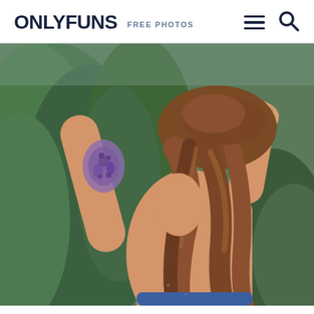ONLYFUNS FREE PHOTOS
[Figure (photo): Outdoor photo of a person with brown hair held up, showing a tattoo on their arm, with evergreen trees in the background.]